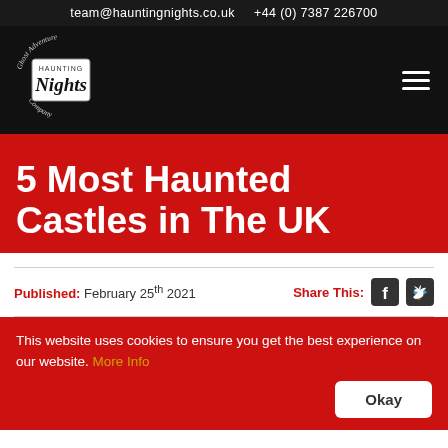team@hauntingnights.co.uk   +44 (0) 7387 226700
[Figure (logo): Ghost Adventure Haunting Nights Company logo — circular script text around a central box reading 'Haunting Nights' in gothic/handwritten style, white on black background]
5 Most Haunted Castles in The UK
Published: February 25th 2021
Share This:
This website uses cookies to ensure you get the best experience on our website. More Info
Okay